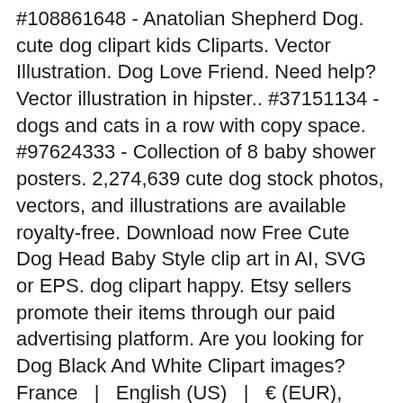#108861648 - Anatolian Shepherd Dog. cute dog clipart kids Cliparts. Vector Illustration. Dog Love Friend. Need help? Vector illustration in hipster.. #37151134 - dogs and cats in a row with copy space. #97624333 - Collection of 8 baby shower posters. 2,274,639 cute dog stock photos, vectors, and illustrations are available royalty-free. Download now Free Cute Dog Head Baby Style clip art in AI, SVG or EPS. dog clipart happy. Etsy sellers promote their items through our paid advertising platform. Are you looking for Dog Black And White Clipart images?  France  |  English (US)  |  € (EUR), remembering account, browser, and regional preferences, remembering privacy and security settings, personalized search, content, and recommendations, helping sellers understand their audience, showing relevant, targeted ads on and off Etsy. #104850357 - Cartoon dog set. Dogs tricks icons and action training digging.. #47744257 - Dog cat and horse logo design vector image, #96995463 - dogs cats and fish pets characters vector illustration design, #59943229 - wash your pet, funny cartoon dog taking a bath in bathtube. BROWSE CLIPART